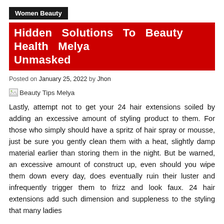Women Beauty
Hidden Solutions To Beauty Health Melya Unmasked
Posted on January 25, 2022 by Jhon
[Figure (other): Small broken image icon followed by text: Beauty Tips Melya]
Lastly, attempt not to get your 24 hair extensions soiled by adding an excessive amount of styling product to them. For those who simply should have a spritz of hair spray or mousse, just be sure you gently clean them with a heat, slightly damp material earlier than storing them in the night. But be warned, an excessive amount of construct up, even should you wipe them down every day, does eventually ruin their luster and infrequently trigger them to frizz and look faux. 24 hair extensions add such dimension and suppleness to the styling that many ladies